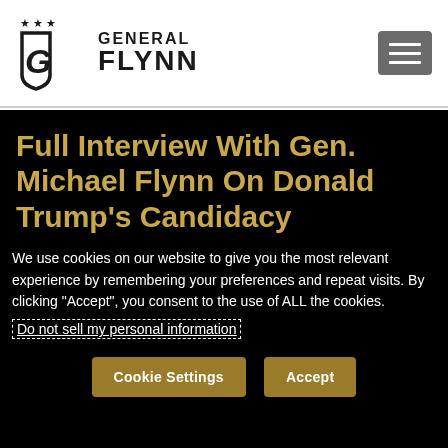[Figure (logo): General Flynn website logo with star motifs and shield/G emblem, text reading GENERAL FLYNN]
Full Interview With Gen. Michael Flynn On Donald Trump’s Candidacy
We use cookies on our website to give you the most relevant experience by remembering your preferences and repeat visits. By clicking “Accept”, you consent to the use of ALL the cookies.
Do not sell my personal information
Cookie Settings  Accept